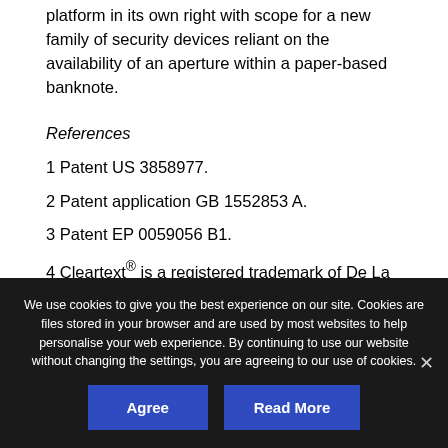platform in its own right with scope for a new family of security devices reliant on the availability of an aperture within a paper-based banknote.
References
1 Patent US 3858977.
2 Patent application GB 1552853 A.
3 Patent EP 0059056 B1.
4 Cleartext® is a registered trademark of De La Rue International Limited.
We use cookies to give you the best experience on our site. Cookies are files stored in your browser and are used by most websites to help personalise your web experience. By continuing to use our website without changing the settings, you are agreeing to our use of cookies.